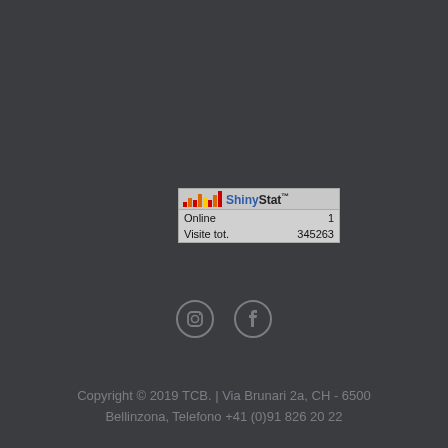[Figure (screenshot): ShinyStat web counter widget showing Online: 1, Visite tot.: 345263]
[Figure (infographic): Social media icons: Instagram and Facebook circular outline icons]
Copyright © 2019 TCB. | Via Brunari 2a, CH - 6500 Bellinzona, Telefono +41 (0)91 826 20 22